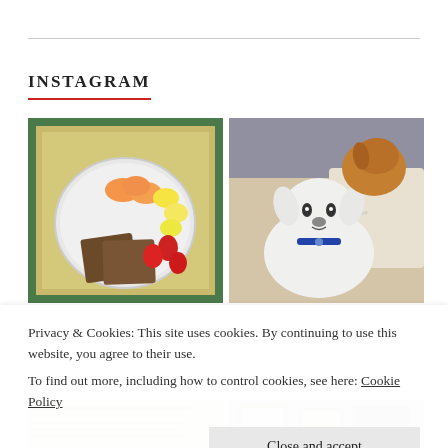INSTAGRAM
[Figure (photo): Overhead photo of a plate with fruit (peaches, bananas, strawberries) and two slices of brown bread on a decorative tiled placemat on a wooden table.]
[Figure (photo): Two dogs resting on a couch with a decorative pillow with script text. A white fluffy dog in the foreground and a brown dog in the background.]
Privacy & Cookies: This site uses cookies. By continuing to use this website, you agree to their use.
To find out more, including how to control cookies, see here: Cookie Policy
Close and accept
[Figure (photo): Partial bottom-left photo showing text/book page.]
[Figure (photo): Partial bottom-right photo showing framed pictures.]